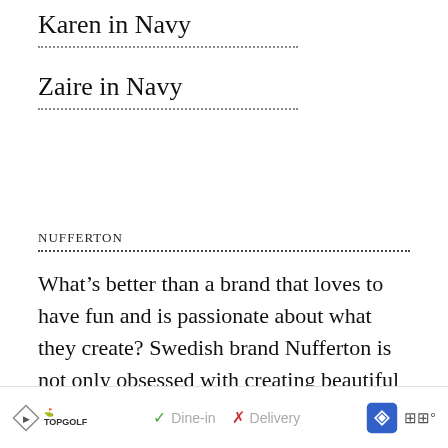Karen in Navy
Zaire in Navy
NUFFERTON
What’s better than a brand that loves to have fun and is passionate about what they create? Swedish brand Nufferton is not only obsessed with creating beautiful pyjamas, they’re also meticulous about their supply chain. Everything is produced in Europe so that they’re able to easily and flexibly...